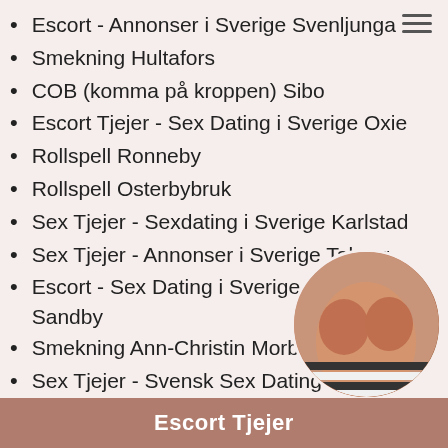Escort - Annonser i Sverige Svenljunga
Smekning Hultafors
COB (komma på kroppen) Sibo
Escort Tjejer - Sex Dating i Sverige Oxie
Rollspell Ronneby
Rollspell Osterbybruk
Sex Tjejer - Sexdating i Sverige Karlstad
Sex Tjejer - Annonser i Sverige Taberg
Escort - Sex Dating i Sverige Sodra Sandby
Smekning Ann-Christin Morbylanga
Sex Tjejer - Svensk Sex Dating Siv Stallarholmen
Sex Tjejer - Svensk Sex Escort Ka…
[Figure (photo): Circular cropped photo of a person's torso]
Escort Tjejer